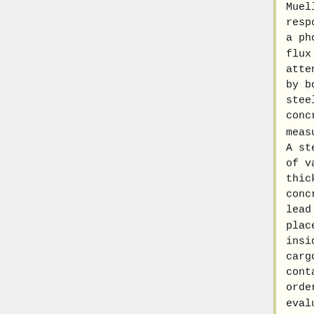Mueller tube response to a photon flux attenuated by both steel and concrete was measured. A step wedge of varying thickness of concrete and lead is placed inside a cargo container in order to evaluate the photon detection
Mueller tube response to a photon flux attenuated by both steel and concrete was measured. A step wedge of varying thickness of concrete and lead is placed inside a cargo container in order to evaluate the photon detection